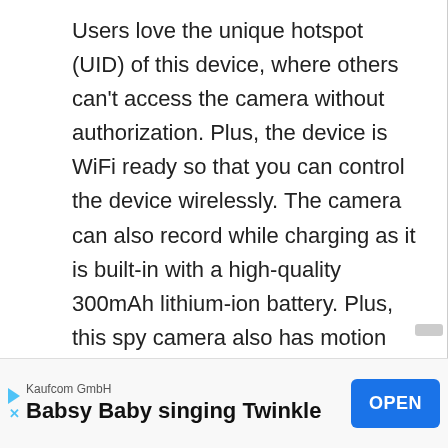Users love the unique hotspot (UID) of this device, where others can't access the camera without authorization. Plus, the device is WiFi ready so that you can control the device wirelessly. The camera can also record while charging as it is built-in with a high-quality 300mAh lithium-ion battery. Plus, this spy camera also has motion detection and night vision that sends notifications to your phone.
[Figure (infographic): Mobile app advertisement banner for 'Babsy Baby singing Twinkle' by Kaufcom GmbH with an OPEN button]